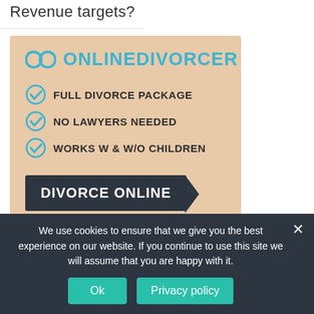Revenue targets?
[Figure (infographic): OnlineDivorcer advertisement on a peach/tan background. Shows the OnlineDivorcer logo with an infinity/rings icon, three checked bullet points (FULL DIVORCE PACKAGE, NO LAWYERS NEEDED, WORKS W & W/O CHILDREN), a dark banner button reading DIVORCE ONLINE with a right-pointing arrow, and two partial person silhouettes at the bottom.]
We use cookies to ensure that we give you the best experience on our website. If you continue to use this site we will assume that you are happy with it.
Ok
Privacy policy